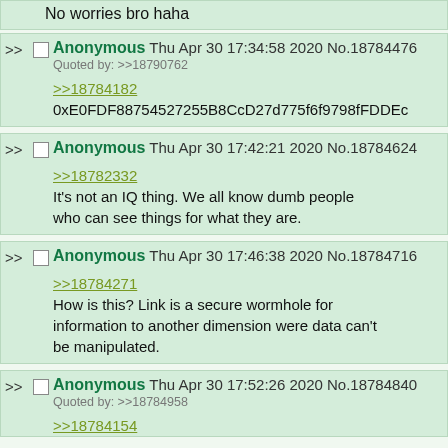No worries bro haha
Anonymous Thu Apr 30 17:34:58 2020 No.18784476
Quoted by: >>18790762
>>18784182
0xE0FDF88754527255B8CcD27d775f6f9798fFDDEc
Anonymous Thu Apr 30 17:42:21 2020 No.18784624
>>18782332
It's not an IQ thing. We all know dumb people who can see things for what they are.
Anonymous Thu Apr 30 17:46:38 2020 No.18784716
>>18784271
How is this? Link is a secure wormhole for information to another dimension were data can't be manipulated.
Anonymous Thu Apr 30 17:52:26 2020 No.18784840
Quoted by: >>18784958
>>18784154